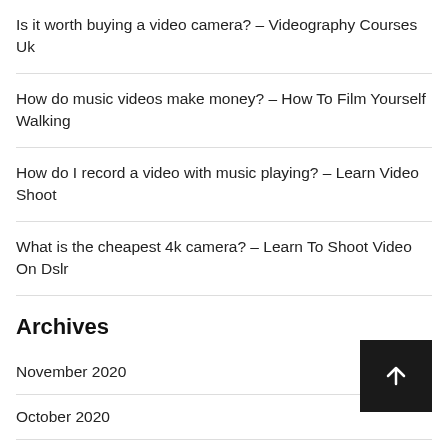Is it worth buying a video camera? – Videography Courses Uk
How do music videos make money? – How To Film Yourself Walking
How do I record a video with music playing? – Learn Video Shoot
What is the cheapest 4k camera? – Learn To Shoot Video On Dslr
Archives
November 2020
October 2020
September 2020
August 2020